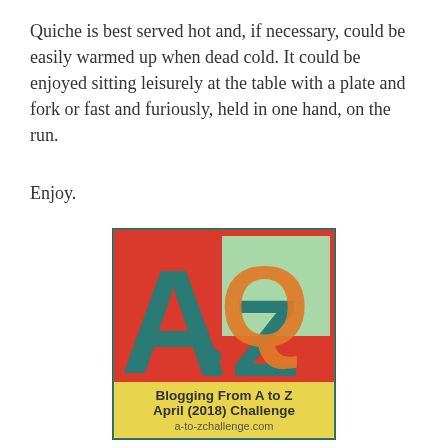Quiche is best served hot and, if necessary, could be easily warmed up when dead cold. It could be enjoyed sitting leisurely at the table with a plate and fork or fast and furiously, held in one hand, on the run.
Enjoy.
[Figure (logo): A to Z Blogging Challenge 2018 badge. Red background with large teal letters 'A' and 'Z', a light green square behind a large orange 'Q' letter, and a subscript '2' in teal. Bottom yellow band reads 'Blogging From A to Z April (2018) Challenge a-to-zchallenge.com'.]